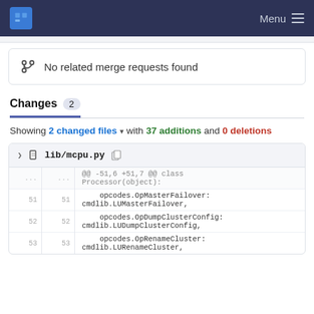Menu
No related merge requests found
Changes 2
Showing 2 changed files with 37 additions and 0 deletions
lib/mcpu.py
| old | new | code |
| --- | --- | --- |
| ... | ... | @@ -51,6 +51,7 @@ class Processor(object): |
| 51 | 51 |     opcodes.OpMasterFailover:
cmdlib.LUMasterFailover, |
| 52 | 52 |     opcodes.OpDumpClusterConfig:
cmdlib.LUDumpClusterConfig, |
| 53 | 53 |     opcodes.OpRenameCluster:
cmdlib.LURenameCluster, |